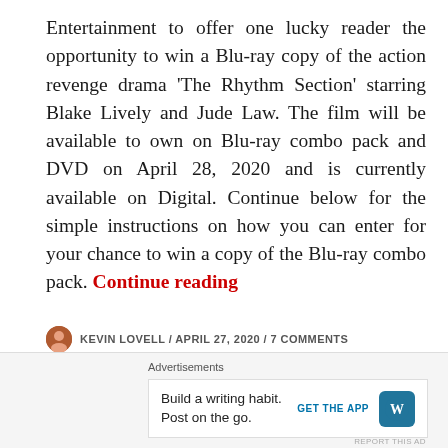Entertainment to offer one lucky reader the opportunity to win a Blu-ray copy of the action revenge drama ‘The Rhythm Section’ starring Blake Lively and Jude Law. The film will be available to own on Blu-ray combo pack and DVD on April 28, 2020 and is currently available on Digital. Continue below for the simple instructions on how you can enter for your chance to win a copy of the Blu-ray combo pack. Continue reading
KEVIN LOVELL / APRIL 27, 2020 / 7 COMMENTS
[Figure (photo): Black and white photograph of performers, showing dynamic motion with striped fabric patterns visible on the right side.]
Advertisements
Build a writing habit. Post on the go. GET THE APP